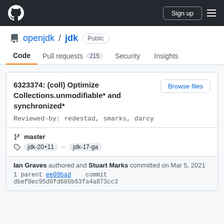GitHub navigation bar with logo, Sign up button, and menu
openjdk / jdk Public
Code  Pull requests 215  Security  Insights
6323374: (coll) Optimize Collections.unmodifiable* and synchronized*
Reviewed-by: redestad, smarks, darcy
master
jdk-20+11  ...  jdk-17-ga
Ian Graves authored and Stuart Marks committed on Mar 5, 2021
1 parent ee09bad   commit dbef0ec95d0fd686b63fa4a873cc3